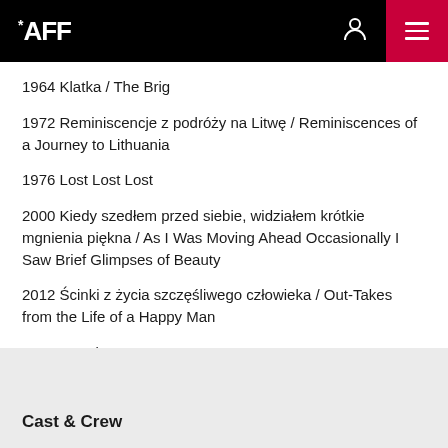*AFF
1964 Klatka / The Brig
1972 Reminiscencje z podróży na Litwę / Reminiscences of a Journey to Lithuania
1976 Lost Lost Lost
2000 Kiedy szedłem przed siebie, widziałem krótkie mgnienia piękna / As I Was Moving Ahead Occasionally I Saw Brief Glimpses of Beauty
2012 Ścinki z życia szczęśliwego człowieka / Out-Takes from the Life of a Happy Man
2019 Requiem
Cast & Crew